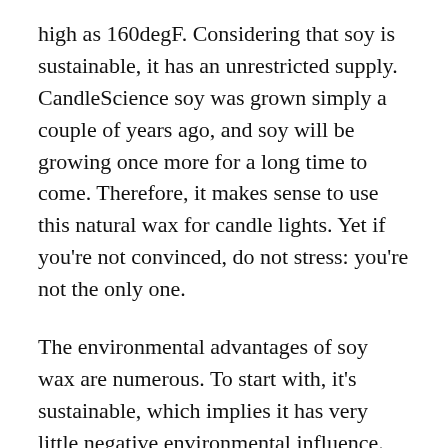high as 160degF. Considering that soy is sustainable, it has an unrestricted supply. CandleScience soy was grown simply a couple of years ago, and soy will be growing once more for a long time to come. Therefore, it makes sense to use this natural wax for candle lights. Yet if you're not convinced, do not stress: you're not the only one.
The environmental advantages of soy wax are numerous. To start with, it's sustainable, which implies it has very little negative environmental influence. Second, soy wax burns cleaner than paraffin wax. Lastly, soy wax candles are carbon neutral and also vegetarian. And due to the fact that soy wax is so abundant, soy candle lights are environmentally friendly as well as